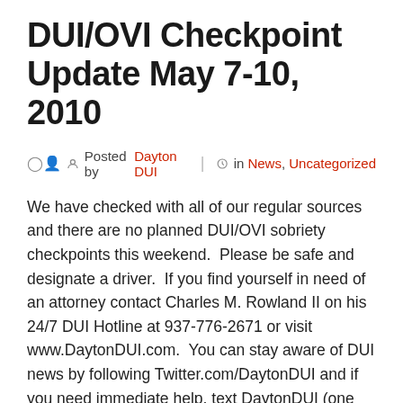DUI/OVI Checkpoint Update May 7-10, 2010
Posted by Dayton DUI | in News, Uncategorized
We have checked with all of our regular sources and there are no planned DUI/OVI sobriety checkpoints this weekend.  Please be safe and designate a driver.  If you find yourself in need of an attorney contact Charles M. Rowland II on his 24/7 DUI Hotline at 937-776-2671 or visit www.DaytonDUI.com.  You can stay aware of DUI news by following Twitter.com/DaytonDUI and if you need immediate help, text DaytonDUI (one word) to 50500